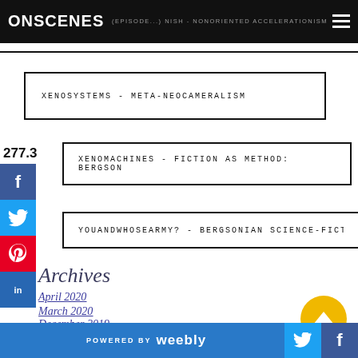ONSCENES | (EPISODE ...) NISH - NONORIENTED ACCELERATIONISM...
XENOSYSTEMS - META-NEOCAMERALISM
277.3
XENOMACHINES - FICTION AS METHOD: BERGSON
YOUANDWHOSEARMY? - BERGSONIAN SCIENCE-FICTION: DE...
Archives
April 2020
March 2020
December 2019
November 2019
POWERED BY weebly